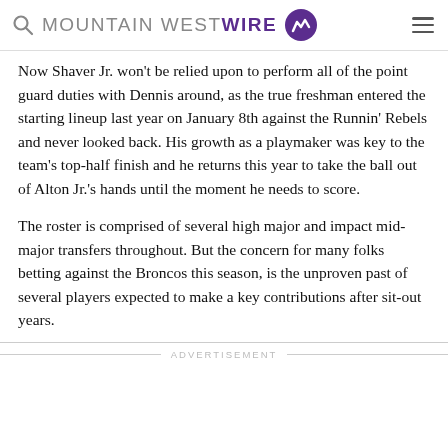MOUNTAIN WEST WIRE
Now Shaver Jr. won't be relied upon to perform all of the point guard duties with Dennis around, as the true freshman entered the starting lineup last year on January 8th against the Runnin’ Rebels and never looked back. His growth as a playmaker was key to the team’s top-half finish and he returns this year to take the ball out of Alton Jr.’s hands until the moment he needs to score.
The roster is comprised of several high major and impact mid-major transfers throughout. But the concern for many folks betting against the Broncos this season, is the unproven past of several players expected to make a key contributions after sit-out years.
ADVERTISEMENT